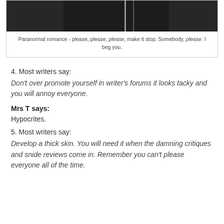[Figure (photo): Partial photo of a person in dark clothing, cropped at top]
Paranormal romance - please, please, please, make it stop. Somebody, please. I beg you.
4. Most writers say:
Don't over promote yourself in writer's forums it looks tacky and you will annoy everyone.
Mrs T says:
Hypocrites.
5. Most writers say:
Develop a thick skin. You will need it when the damning critiques and snide reviews come in. Remember you can't please everyone all of the time.